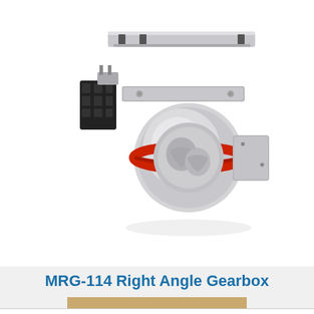[Figure (photo): MRG-114 Right Angle Gearbox product photo showing a metallic silver gearbox with a red ring/band, connected to a linear rail actuator system with a black connector block on the left side.]
MRG-114 Right Angle Gearbox
VIEW & CONFIGURE